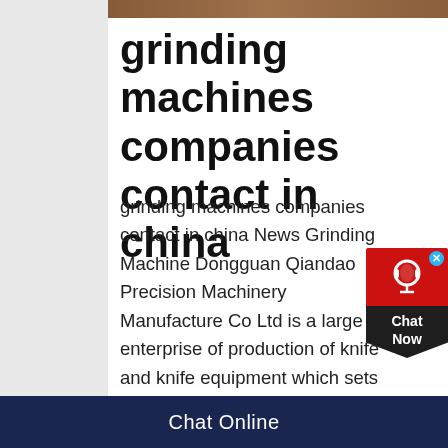[Figure (photo): Partial image strip at top of page showing brown/earth tones]
grinding machines companies contact in china
grinding machines companies contact in china News Grinding Machine Dongguan Qiandao Precision Machinery Manufacture Co Ltd is a large enterprise of production of knife and knife equipment which sets design research and development production sales and maintenance in one At present there are six categories twelve series more than 40 kinds of models of product segmentation it is the mostKnife Grinding Machine Companies Supplier Country China 3 Malaysia 1 Korea 1 Search Options Show Premium Suppliers in grinding machines manufacturers in
[Figure (other): Red chat support widget with headset icon and 'Chat Now' label]
Chat Online